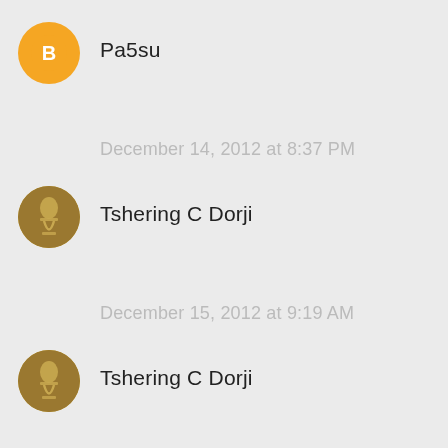Pa5su
December 14, 2012 at 8:37 PM
Tshering C Dorji
December 15, 2012 at 9:19 AM
Tshering C Dorji